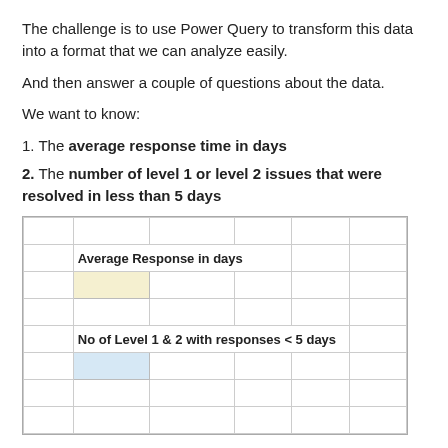The challenge is to use Power Query to transform this data into a format that we can analyze easily.
And then answer a couple of questions about the data.
We want to know:
1. The average response time in days
2. The number of level 1 or level 2 issues that were resolved in less than 5 days
[Figure (table-as-image): A spreadsheet grid showing two labeled rows with colored cells: 'Average Response in days' with a yellow highlighted cell, and 'No of Level 1 & 2 with responses < 5 days' with a blue highlighted cell.]
Space has been provided between the issues data and the questions to load the Power Query table.
Test data is provided in range L12:O20 so that you can